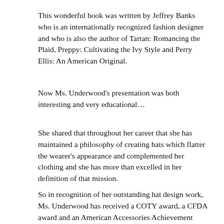This wonderful book was written by Jeffrey Banks who is an internationally recognized fashion designer and who is also the author of Tartan: Romancing the Plaid, Preppy: Cultivating the Ivy Style and Perry Ellis: An American Original.
Now Ms. Underwood's presentation was both interesting and very educational…
She shared that throughout her career that she has maintained a philosophy of creating hats which flatter the wearer's appearance and complemented her clothing and she has more than excelled in her definition of that mission.
So in recognition of her outstanding hat design work, Ms. Underwood has received a COTY award, a CFDA award and an American Accessories Achievement award.  What I also learned about Ms. Underwood is that she has collaborated with some of America's most prestigious designers such as Ralph Lauren,